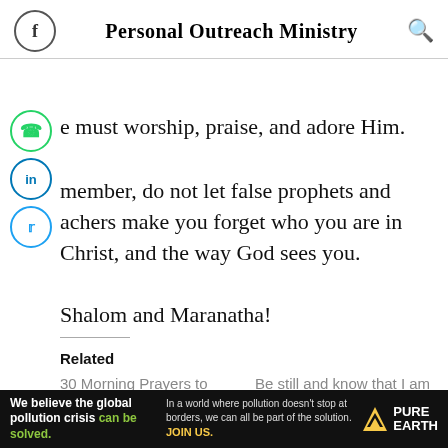Personal Outreach Ministry
e must worship, praise, and adore Him.
member, do not let false prophets and achers make you forget who you are in Christ, and the way God sees you.
Shalom and Maranatha!
Related
30 Morning Prayers to Start Each Day with God
Be still and know that I am God; Bible verse
We believe the global pollution crisis can be solved. In a world where pollution doesn't stop at borders, we can all be part of the solution. JOIN US. PURE EARTH